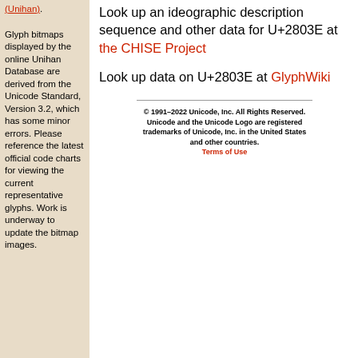(Unihan).
Glyph bitmaps displayed by the online Unihan Database are derived from the Unicode Standard, Version 3.2, which has some minor errors. Please reference the latest official code charts for viewing the current representative glyphs. Work is underway to update the bitmap images.
Look up an ideographic description sequence and other data for U+2803E at the CHISE Project
Look up data on U+2803E at GlyphWiki
© 1991–2022 Unicode, Inc. All Rights Reserved. Unicode and the Unicode Logo are registered trademarks of Unicode, Inc. in the United States and other countries. Terms of Use